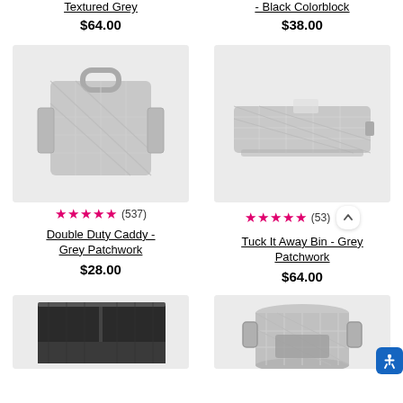Textured Grey
$64.00
- Black Colorblock
$38.00
[Figure (photo): Double Duty Caddy in Grey Patchwork pattern - a fabric organizer/caddy with handle and diagonal stripe pattern]
★★★★★ (537)
Double Duty Caddy - Grey Patchwork
$28.00
[Figure (photo): Tuck It Away Bin in Grey Patchwork - a flat under-bed storage bin with diagonal stripe pattern and pull handle]
★★★★★ (53)
Tuck It Away Bin - Grey Patchwork
$64.00
[Figure (photo): A black fabric storage bin/organizer with divider]
[Figure (photo): A cylindrical storage bag in grey patchwork pattern with handles]